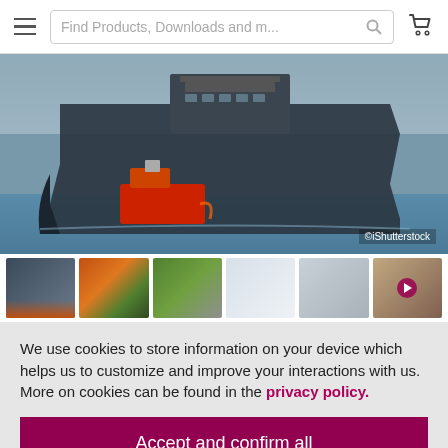Find Products, Downloads and m...
[Figure (photo): Large cargo ship in a harbor waterway being guided by a red tugboat, overcast sky. Watermark: ©iShutterstock]
[Figure (photo): Thumbnail strip of 6 images: industrial crane/storm, shipping containers, green industrial facility, control panel display, equipment panel, person (with play button overlay)]
We use cookies to store information on your device which helps us to customize and improve your interactions with us. More on cookies can be found in the privacy policy.
Accept and confirm all
Adapt settings